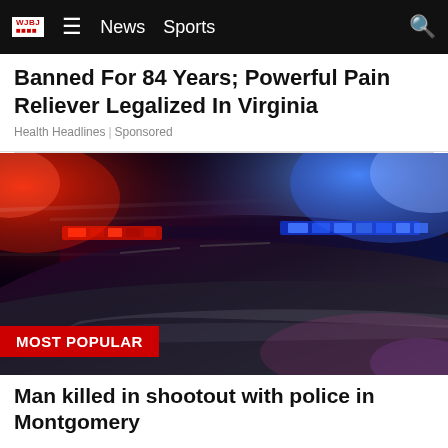WJBJ News | Sports
Banned For 84 Years; Powerful Pain Reliever Legalized In Virginia
Health Headlines | Sponsored
[Figure (photo): Police car with red and blue flashing lights at night, close-up of roof lightbar with motion blur, dark dramatic tones with red and purple color cast. 'MOST POPULAR' red label at bottom left.]
Man killed in shootout with police in Montgomery